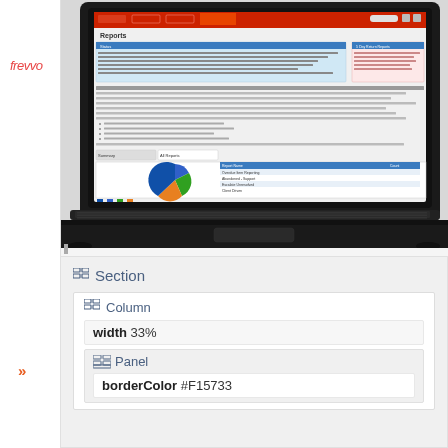[Figure (screenshot): Toshiba laptop displaying a web application 'Reports' page with a pie chart and data table, showing frewwo software interface]
frewwo
»
Section
Column
width 33%
Panel
borderColor #F15733